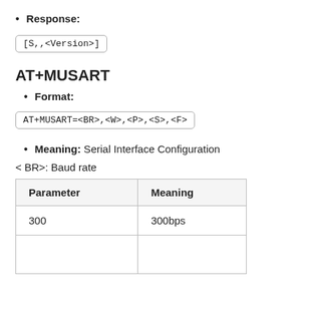Response:
[S,,<Version>]
AT+MUSART
Format:
AT+MUSART=<BR>,<W>,<P>,<S>,<F>
Meaning: Serial Interface Configuration
< BR>: Baud rate
| Parameter | Meaning |
| --- | --- |
| 300 | 300bps |
|  |  |